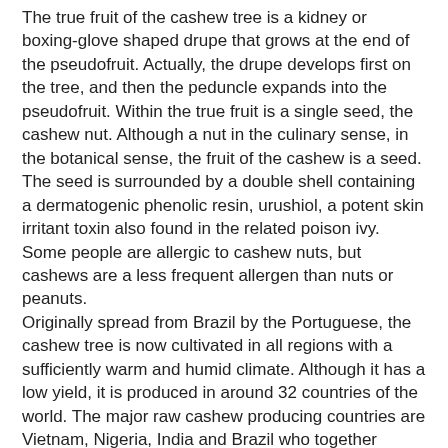The true fruit of the cashew tree is a kidney or boxing-glove shaped drupe that grows at the end of the pseudofruit. Actually, the drupe develops first on the tree, and then the peduncle expands into the pseudofruit. Within the true fruit is a single seed, the cashew nut. Although a nut in the culinary sense, in the botanical sense, the fruit of the cashew is a seed. The seed is surrounded by a double shell containing a dermatogenic phenolic resin, urushiol, a potent skin irritant toxin also found in the related poison ivy. Some people are allergic to cashew nuts, but cashews are a less frequent allergen than nuts or peanuts.
Originally spread from Brazil by the Portuguese, the cashew tree is now cultivated in all regions with a sufficiently warm and humid climate. Although it has a low yield, it is produced in around 32 countries of the world. The major raw cashew producing countries are Vietnam, Nigeria, India and Brazil who together account for more than 90% of all cashew kernel export.
Anacardic acids found in cashews have been used effectively against tooth abcesses due to their lethality to gram-positive bacteria. They are also active against a wide range of other gram-positive bacteria. Many parts of the